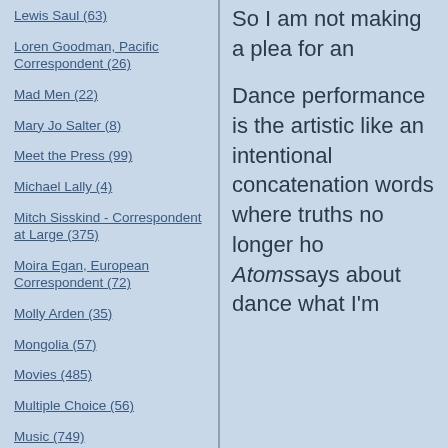Lewis Saul (63)
Loren Goodman, Pacific Correspondent (26)
Mad Men (22)
Mary Jo Salter (8)
Meet the Press (99)
Michael Lally (4)
Mitch Sisskind - Correspondent at Large (375)
Moira Egan, European Correspondent (72)
Molly Arden (35)
Mongolia (57)
Movies (485)
Multiple Choice (56)
Music (749)
New Zealand (18)
Next Line, Please (79)
Nin Andrews (116)
So I am not making a plea for an
Dance performance is the artistic like an intentional concatenation words where truths no longer ho Atomssays about dance what I'm